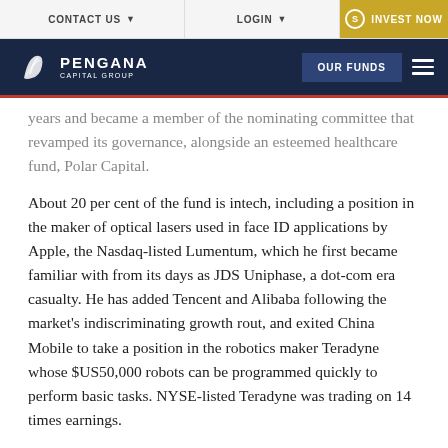CONTACT US | LOGIN | INVEST NOW | OUR FUNDS
[Figure (logo): Pengana Capital Group logo with navigation bar]
years and became a member of the nominating committee that revamped its governance, alongside an esteemed healthcare fund, Polar Capital.
About 20 per cent of the fund is intech, including a position in the maker of optical lasers used in face ID applications by Apple, the Nasdaq-listed Lumentum, which he first became familiar with from its days as JDS Uniphase, a dot-com era casualty. He has added Tencent and Alibaba following the market's indiscriminating growth rout, and exited China Mobile to take a position in the robotics maker Teradyne whose $US50,000 robots can be programmed quickly to perform basic tasks. NYSE-listed Teradyne was trading on 14 times earnings.
M...